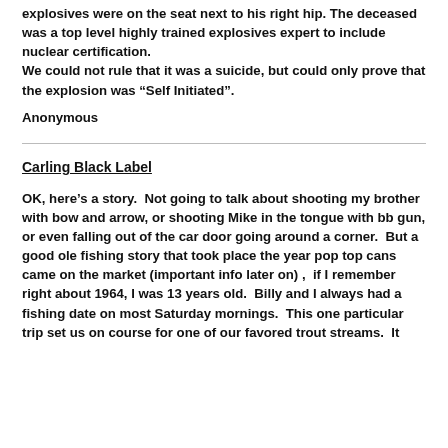explosives were on the seat next to his right hip. The deceased was a top level highly trained explosives expert to include nuclear certification. We could not rule that it was a suicide, but could only prove that the explosion was “Self Initiated”.
Anonymous
Carling Black Label
OK, here’s a story.  Not going to talk about shooting my brother with bow and arrow, or shooting Mike in the tongue with bb gun, or even falling out of the car door going around a corner.  But a good ole fishing story that took place the year pop top cans came on the market (important info later on) ,  if I remember right about 1964, I was 13 years old.  Billy and I always had a fishing date on most Saturday mornings.  This one particular trip set us on course for one of our favored trout streams.  It